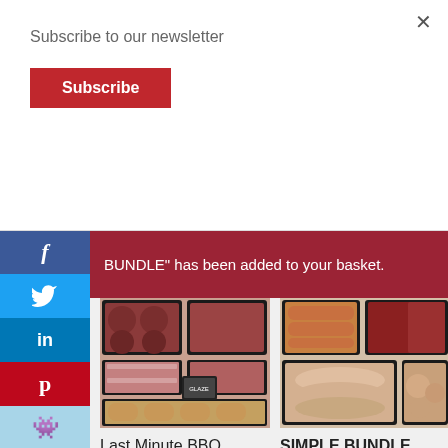Subscribe to our newsletter
Subscribe
BUNDLE" has been added to your basket.
[Figure (photo): Photo of Last Minute BBQ Bundle - assorted meat products in trays including burgers, bacon, chicken and sausages]
Last Minute BBQ Bundle
£29.00
[Figure (photo): Photo of Simple Bundle - assorted meat products in trays including sausages, beef, chicken breast slices and chicken pieces]
SIMPLE BUNDLE
£29.99